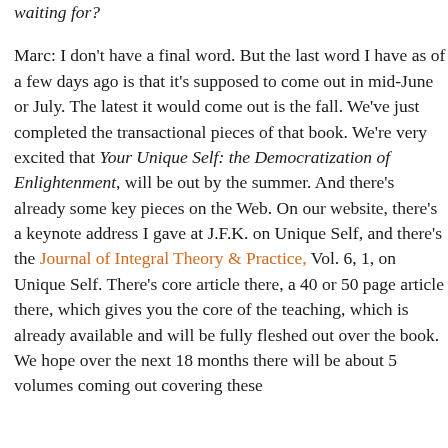waiting for?

Marc: I don't have a final word. But the last word I have as of a few days ago is that it's supposed to come out in mid-June or July. The latest it would come out is the fall. We've just completed the transactional pieces of that book. We're very excited that Your Unique Self: the Democratization of Enlightenment, will be out by the summer. And there's already some key pieces on the Web. On our website, there's a keynote address I gave at J.F.K. on Unique Self, and there's the Journal of Integral Theory & Practice, Vol. 6, 1, on Unique Self. There's core article there, a 40 or 50 page article there, which gives you the core of the teaching, which is already available and will be fully fleshed out over the book. We hope over the next 18 months there will be about 5 volumes coming out covering these